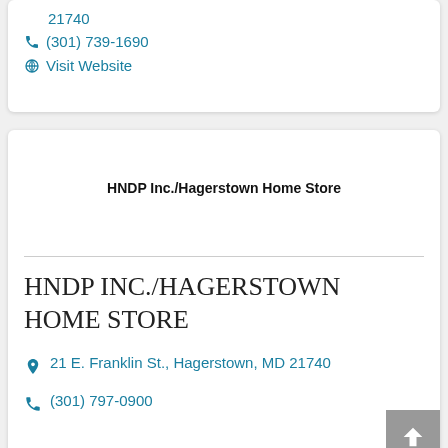21740
(301) 739-1690
Visit Website
HNDP Inc./Hagerstown Home Store
HNDP INC./HAGERSTOWN HOME STORE
21 E. Franklin St., Hagerstown, MD 21740
(301) 797-0900